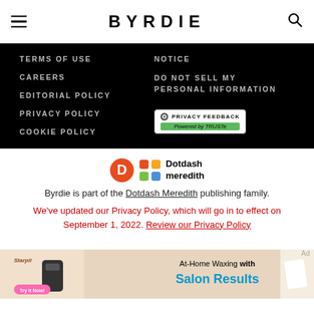BYRDIE
TERMS OF USE
CAREERS
EDITORIAL POLICY
PRIVACY POLICY
COOKIE POLICY
NOTICE
DO NOT SELL MY PERSONAL INFORMATION
[Figure (logo): Privacy Feedback badge powered by TRUSTe]
[Figure (logo): Dotdash Meredith logo with orange D icon and colorful grid icon]
Byrdie is part of the Dotdash Meredith publishing family.
We've updated our Privacy Policy, which will go in to effect on September 1, 2022. Review our Privacy Policy
[Figure (photo): Advertisement banner: Starpil At-Home Waxing with Salon Results. Try it Now button.]